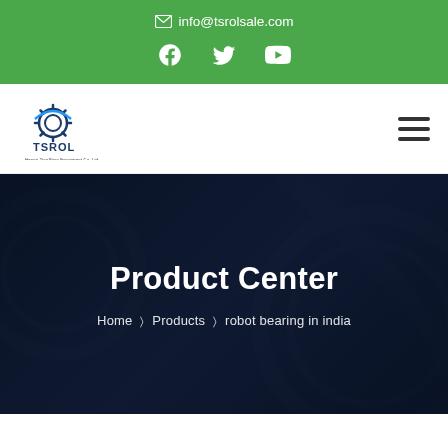✉ info@tsrolsale.com
[Figure (logo): Social media icons: Facebook, Twitter, YouTube on green background]
[Figure (logo): TSROL company logo with gear icon and text 'Henan TianShan Equipment Co. Ltd']
Product Center
Home > Products > robot bearing in india